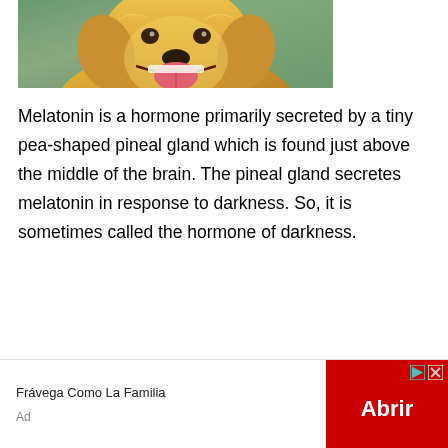[Figure (photo): Photo of a golden retriever dog with mouth open and tongue out, smiling, with a blurred green background]
Melatonin is a hormone primarily secreted by a tiny pea-shaped pineal gland which is found just above the middle of the brain. The pineal gland secretes melatonin in response to darkness. So, it is sometimes called the hormone of darkness.
Except for this gland, various places in the body also produce and secret this h...
[Figure (infographic): Advertisement banner: Frávega Como La Familia with red 'Abrir' button, play and close icons]